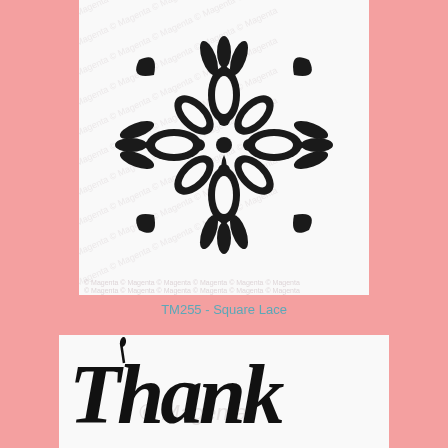[Figure (illustration): Square lace mandala stencil design on white background with Magenta watermark repeated diagonally]
TM255 - Square Lace
[Figure (illustration): Thank you script lettering stencil design on white background with Magenta watermark]